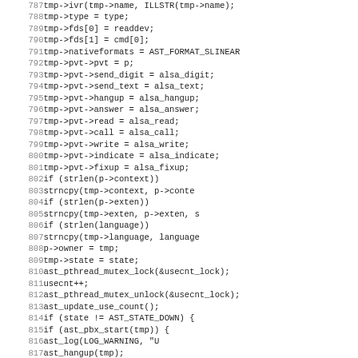[Figure (screenshot): Source code listing in monospace font showing C code lines 788-819 with line numbers on the left and code content on the right.]